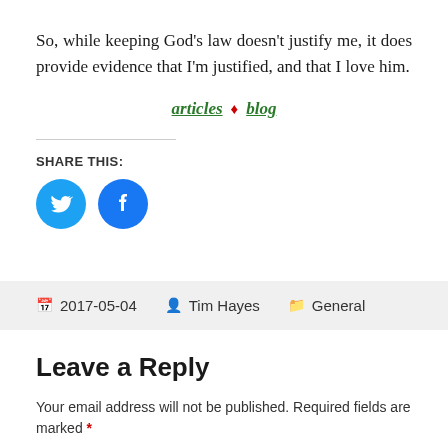So, while keeping God's law doesn't justify me, it does provide evidence that I'm justified, and that I love him.
articles ♦ blog
SHARE THIS:
[Figure (other): Twitter and Facebook share icon buttons]
2017-05-04  Tim Hayes  General
Leave a Reply
Your email address will not be published. Required fields are marked *